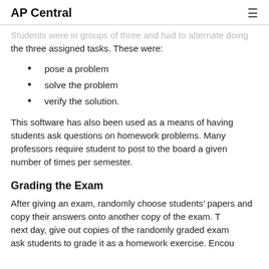AP Central
Students were in groups of three and had to alternate doing the three assigned tasks. These were:
pose a problem
solve the problem
verify the solution.
This software has also been used as a means of having students ask questions on homework problems. Many professors require student to post to the board a given number of times per semester.
Grading the Exam
After giving an exam, randomly choose students' papers and copy their answers onto another copy of the exam. The next day, give out copies of the randomly graded exam and ask students to grade it as a homework exercise. Encou